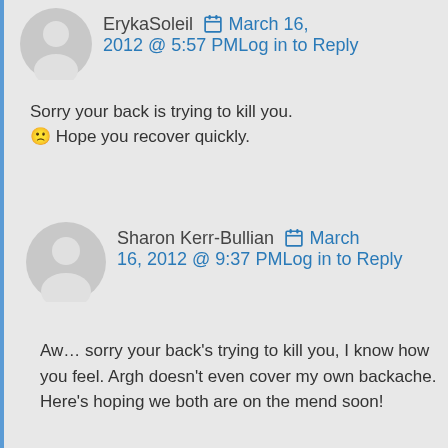ErykaSoleil  March 16, 2012 @ 5:57 PMLog in to Reply
Sorry your back is trying to kill you. 🙁 Hope you recover quickly.
Sharon Kerr-Bullian  March 16, 2012 @ 9:37 PMLog in to Reply
Aw… sorry your back's trying to kill you, I know how you feel. Argh doesn't even cover my own backache. Here's hoping we both are on the mend soon!